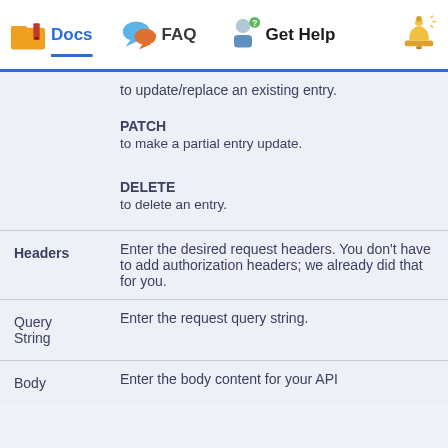Docs  FAQ  Get Help
to update/replace an existing entry.
PATCH
to make a partial entry update.
DELETE
to delete an entry.
| Field | Description |
| --- | --- |
| Headers | Enter the desired request headers. You don't have to add authorization headers; we already did that for you. |
| Query String | Enter the request query string. |
| Body | Enter the body content for your API |